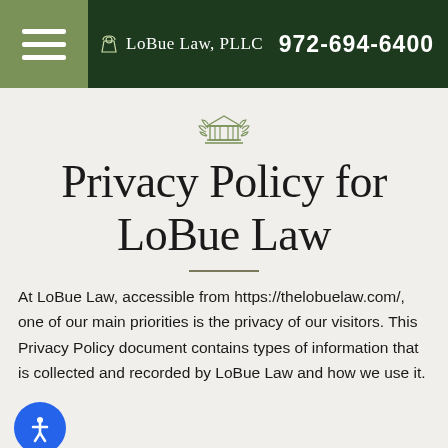LoBue Law, PLLC   972-694-6400
[Figure (logo): Courthouse/scales of justice decorative icon in olive green]
Privacy Policy for LoBue Law
At LoBue Law, accessible from https://thelobuelaw.com/, one of our main priorities is the privacy of our visitors. This Privacy Policy document contains types of information that is collected and recorded by LoBue Law and how we use it.